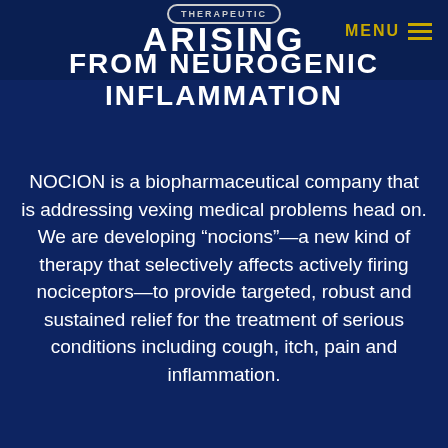THERAPEUTIC
ARISING
FROM NEUROGENIC INFLAMMATION
MENU
NOCION is a biopharmaceutical company that is addressing vexing medical problems head on. We are developing “nocions”—a new kind of therapy that selectively affects actively firing nociceptors—to provide targeted, robust and sustained relief for the treatment of serious conditions including cough, itch, pain and inflammation.